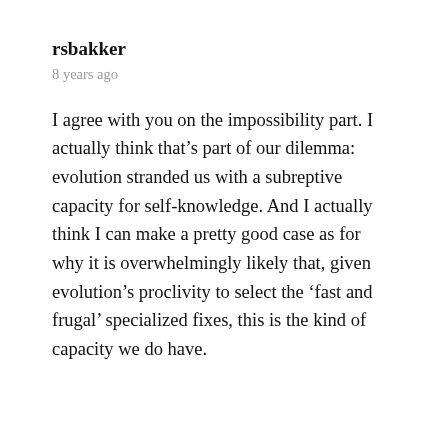rsbakker
8 years ago
I agree with you on the impossibility part. I actually think that’s part of our dilemma: evolution stranded us with a subreptive capacity for self-knowledge. And I actually think I can make a pretty good case as for why it is overwhelmingly likely that, given evolution’s proclivity to select the ‘fast and frugal’ specialized fixes, this is the kind of capacity we do have.